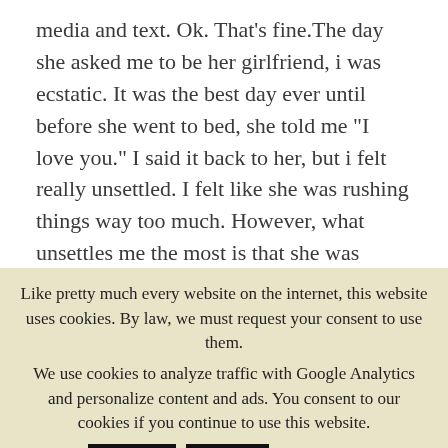media and text. Ok. That’s fine.The day she asked me to be her girlfriend, i was ecstatic. It was the best day ever until before she went to bed, she told me “I love you.” I said it back to her, but i felt really unsettled. I felt like she was rushing things way too much. However, what unsettles me the most is that she was telling the truth. We’re still together
Like pretty much every website on the internet, this website uses cookies. By law, we must request your consent to use them.
We use cookies to analyze traffic with Google Analytics and personalize content and ads. You consent to our cookies if you continue to use this website.